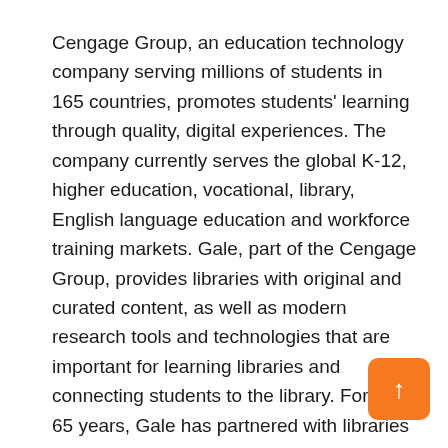Cengage Group, an education technology company serving millions of students in 165 countries, promotes students' learning through quality, digital experiences. The company currently serves the global K-12, higher education, vocational, library, English language education and workforce training markets. Gale, part of the Cengage Group, provides libraries with original and curated content, as well as modern research tools and technologies that are important for learning libraries and connecting students to the library. For over 65 years, Gale has partnered with libraries around the world to empower people to discover knowledge and insights – where, when and how people need it. Gail has 500 employees worldwide, including its main operations in Farmington Hills, Michigan. For more